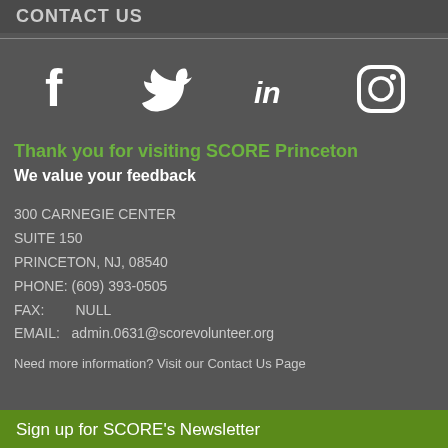CONTACT US
[Figure (infographic): Social media icons: Facebook (f), Twitter (bird), LinkedIn (in), Instagram (camera outline) displayed in a row on a dark background]
Thank you for visiting SCORE Princeton
We value your feedback
300 CARNEGIE CENTER
SUITE 150
PRINCETON, NJ, 08540
PHONE: (609) 393-0505
FAX:       NULL
EMAIL:   admin.0631@scorevolunteer.org
Need more information? Visit our Contact Us Page
Sign up for SCORE's Newsletter